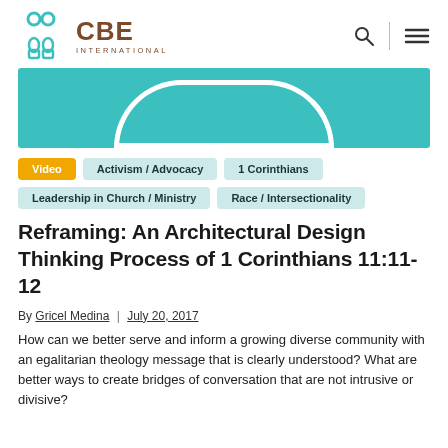CBE INTERNATIONAL
[Figure (illustration): Teal/turquoise hero banner with a white arc shape at the bottom center]
Video
Activism / Advocacy
1 Corinthians
Leadership in Church / Ministry
Race / Intersectionality
Reframing: An Architectural Design Thinking Process of 1 Corinthians 11:11-12
By Gricel Medina | July 20, 2017
How can we better serve and inform a growing diverse community with an egalitarian theology message that is clearly understood? What are better ways to create bridges of conversation that are not intrusive or divisive?